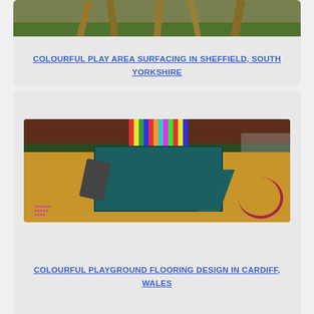[Figure (photo): Outdoor wooden play area structure with green grass background, cropped at top of card]
COLOURFUL PLAY AREA SURFACING IN SHEFFIELD, SOUTH YORKSHIRE
[Figure (photo): Colourful playground with teal wooden tower/platform structure with slide and stairs, bright striped panels on top, orange/tan rubber flooring with pink and maroon decorative markings, green hedge background]
COLOURFUL PLAYGROUND FLOORING DESIGN IN CARDIFF, WALES